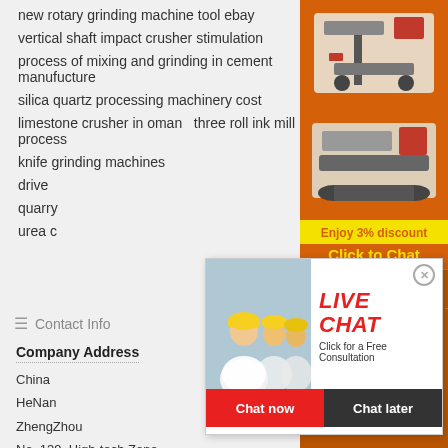new rotary grinding machine tool ebay
vertical shaft impact crusher stimulation
process of mixing and grinding in cement manufucture
silica quartz processing machinery cost
limestone crusher in oman   three roll ink mill process
knife grinding machines
drive
quarry
urea c
[Figure (infographic): Live chat popup with workers wearing yellow helmets, LIVE CHAT text in red, 'Click for a Free Consultation', Chat now and Chat later buttons]
[Figure (infographic): Right sidebar with orange background showing machinery images, Enjoy 3% discount, Click to Chat, Enquiry, and limingjlmofen@sina.com]
Contact Info
Company Address
China
HeNan
ZhengZhou
No. 139, High-tech Zone